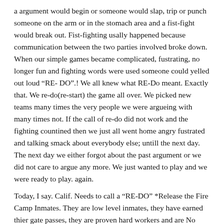a argument would begin or someone would slap, trip or punch someone on the arm or in the stomach area and a fist-fight would break out. Fist-fighting usally happened because communication between the two parties involved broke down. When our simple games became complicated, fustrating, no longer fun and fighting words were used someone could yelled out loud “RE- DO”.! We all knew what RE-Do meant. Exactly that. We re-do(re-start) the game all over. We picked new teams many times the very people we were argueing with many times not. If the call of re-do did not work and the fighting countined then we just all went home angry fustrated and talking smack about everybody else; untill the next day. The next day we either forgot about the past argument or we did not care to argue any more. We just wanted to play and we were ready to play. again.
Today, I say. Calif. Needs to call a “RE-DO” *Release the Fire Camp Inmates. They are low level inmates, they have earned thier gate passes, they are proven hard workers and are No longer a threat or danger to our society.